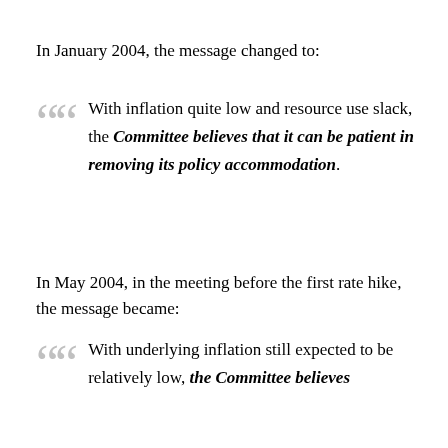In January 2004, the message changed to:
With inflation quite low and resource use slack, the Committee believes that it can be patient in removing its policy accommodation.
In May 2004, in the meeting before the first rate hike, the message became:
With underlying inflation still expected to be relatively low, the Committee believes